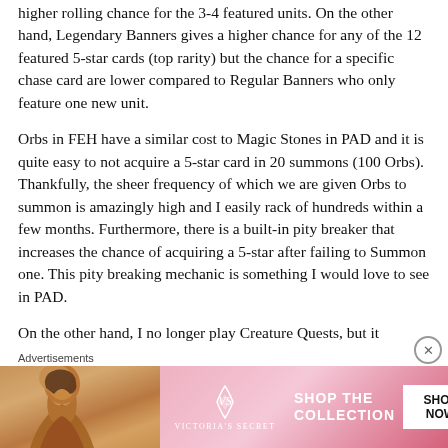higher rolling chance for the 3-4 featured units. On the other hand, Legendary Banners gives a higher chance for any of the 12 featured 5-star cards (top rarity) but the chance for a specific chase card are lower compared to Regular Banners who only feature one new unit.
Orbs in FEH have a similar cost to Magic Stones in PAD and it is quite easy to not acquire a 5-star card in 20 summons (100 Orbs). Thankfully, the sheer frequency of which we are given Orbs to summon is amazingly high and I easily rack of hundreds within a few months. Furthermore, there is a built-in pity breaker that increases the chance of acquiring a 5-star after failing to Summon one. This pity breaking mechanic is something I would love to see in PAD.
On the other hand, I no longer play Creature Quests, but it
[Figure (other): Victoria's Secret advertisement banner with pink gradient background, model photo on left, VS logo, 'SHOP THE COLLECTION' text, and 'SHOP NOW' button]